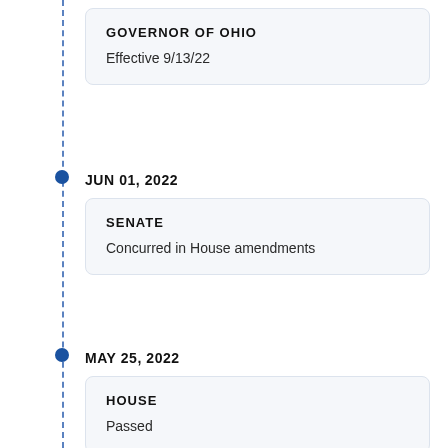GOVERNOR OF OHIO
Effective 9/13/22
JUN 01, 2022
SENATE
Concurred in House amendments
MAY 25, 2022
HOUSE
Passed